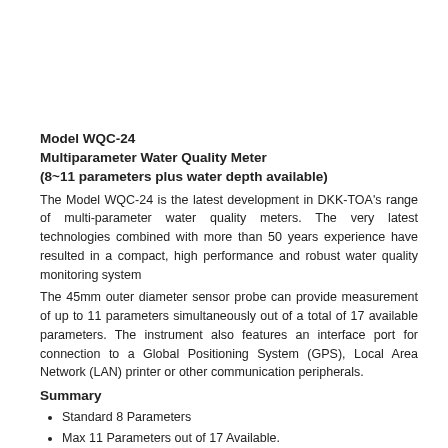Model WQC-24
Multiparameter Water Quality Meter
(8~11 parameters plus water depth available)
The Model WQC-24 is the latest development in DKK-TOA's range of multi-parameter water quality meters. The very latest technologies combined with more than 50 years experience have resulted in a compact, high performance and robust water quality monitoring system
The 45mm outer diameter sensor probe can provide measurement of up to 11 parameters simultaneously out of a total of 17 available parameters. The instrument also features an interface port for connection to a Global Positioning System (GPS), Local Area Network (LAN) printer or other communication peripherals.
Summary
Standard 8 Parameters
Max 11 Parameters out of 17 Available.
Optional water depth sensor.
Independent Sensor Memory/Logger.
RS232 Interface for External Peripherals.